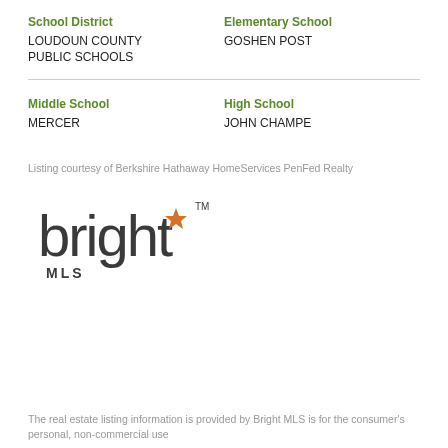School District
LOUDOUN COUNTY PUBLIC SCHOOLS
Elementary School
GOSHEN POST
Middle School
MERCER
High School
JOHN CHAMPE
Listing courtesy of Berkshire Hathaway HomeServices PenFed Realty
[Figure (logo): Bright MLS logo with stylized 'bright' text in dark grey and an orange star/sparkle accent, with 'MLS' below in spaced capitals]
The real estate listing information is provided by Bright MLS is for the consumer's personal, non-commercial use